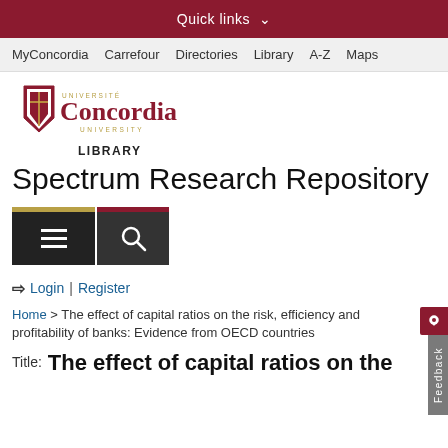Quick links
MyConcordia  Carrefour  Directories  Library  A-Z  Maps
[Figure (logo): Concordia University logo with shield and text]
LIBRARY
Spectrum Research Repository
[Figure (infographic): Hamburger menu button and search magnifying glass button]
Login | Register
Home > The effect of capital ratios on the risk, efficiency and profitability of banks: Evidence from OECD countries
Title:  The effect of capital ratios on the risk, efficiency and profitability of...